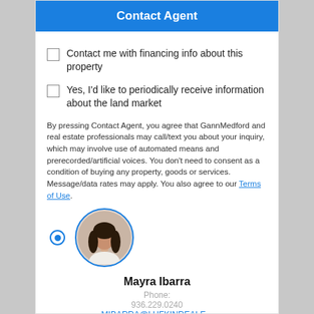Contact Agent
Contact me with financing info about this property
Yes, I'd like to periodically receive information about the land market
By pressing Contact Agent, you agree that GannMedford and real estate professionals may call/text you about your inquiry, which may involve use of automated means and prerecorded/artificial voices. You don't need to consent as a condition of buying any property, goods or services. Message/data rates may apply. You also agree to our Terms of Use.
[Figure (photo): Circular profile photo of Mayra Ibarra, a woman with long dark hair]
Mayra Ibarra
Phone: 936.229.0240
MIBARRA@LUFKINREALE...